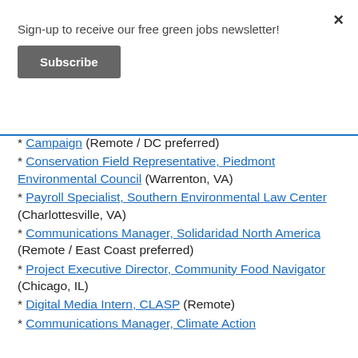Sign-up to receive our free green jobs newsletter!
Subscribe
* Campaign (Remote / DC preferred)
* Conservation Field Representative, Piedmont Environmental Council (Warrenton, VA)
* Payroll Specialist, Southern Environmental Law Center (Charlottesville, VA)
* Communications Manager, Solidaridad North America (Remote / East Coast preferred)
* Project Executive Director, Community Food Navigator (Chicago, IL)
* Digital Media Intern, CLASP (Remote)
* Communications Manager, Climate Action